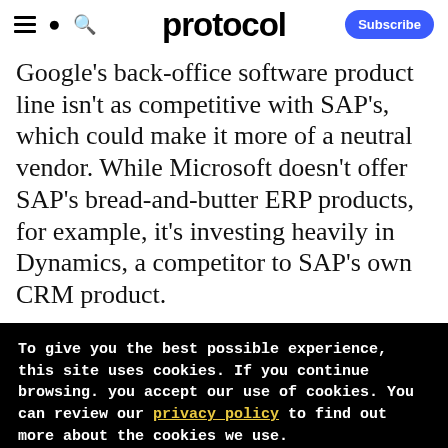protocol — Subscribe
Google's back-office software product line isn't as competitive with SAP's, which could make it more of a neutral vendor. While Microsoft doesn't offer SAP's bread-and-butter ERP products, for example, it's investing heavily in Dynamics, a competitor to SAP's own CRM product.
To give you the best possible experience, this site uses cookies. If you continue browsing. you accept our use of cookies. You can review our privacy policy to find out more about the cookies we use.
Accept